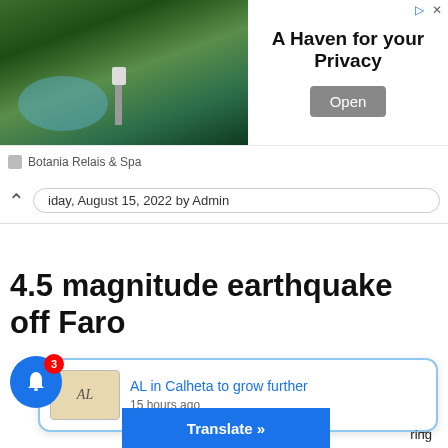[Figure (screenshot): Advertisement banner for Botania Relais & Spa showing a pool/garden photo, headline 'A Haven for your Privacy', and an Open button]
Monday, August 15, 2022 by Admin
4.5 magnitude earthquake off Faro
The Portugal News reports that on
[Figure (screenshot): Notification popup card: thumbnail image of AL sign, link 'AL in Calheta to grow further', '15 hours ago']
ring